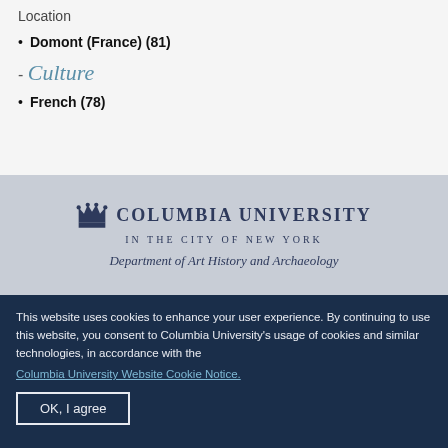Location
Domont (France) (81)
- Culture
French (78)
[Figure (logo): Columbia University in the City of New York logo with crown emblem]
Department of Art History and Archaeology
This website uses cookies to enhance your user experience. By continuing to use this website, you consent to Columbia University's usage of cookies and similar technologies, in accordance with the
Columbia University Website Cookie Notice.
OK, I agree